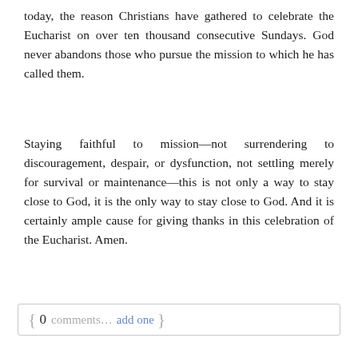today, the reason Christians have gathered to celebrate the Eucharist on over ten thousand consecutive Sundays. God never abandons those who pursue the mission to which he has called them.
Staying faithful to mission—not surrendering to discouragement, despair, or dysfunction, not settling merely for survival or maintenance—this is not only a way to stay close to God, it is the only way to stay close to God. And it is certainly ample cause for giving thanks in this celebration of the Eucharist. Amen.
{ 0 comments… add one }